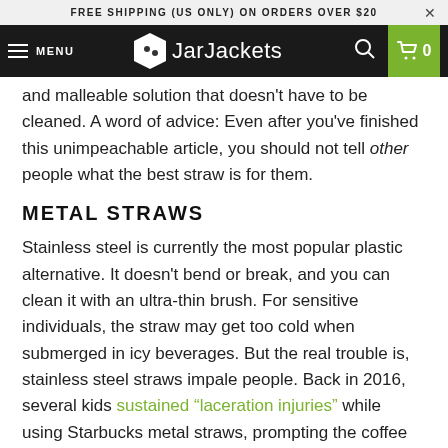FREE SHIPPING (US ONLY) ON ORDERS OVER $20
MENU  JarJackets  0
and malleable solution that doesn’t have to be cleaned. A word of advice: Even after you’ve finished this unimpeachable article, you should not tell other people what the best straw is for them.
METAL STRAWS
Stainless steel is currently the most popular plastic alternative. It doesn’t bend or break, and you can clean it with an ultra-thin brush. For sensitive individuals, the straw may get too cold when submerged in icy beverages. But the real trouble is, stainless steel straws impale people. Back in 2016, several kids sustained “laceration injuries” while using Starbucks metal straws, prompting the coffee company to recall 2.5 million of the accidental weapons in the United States alone. And this was just a